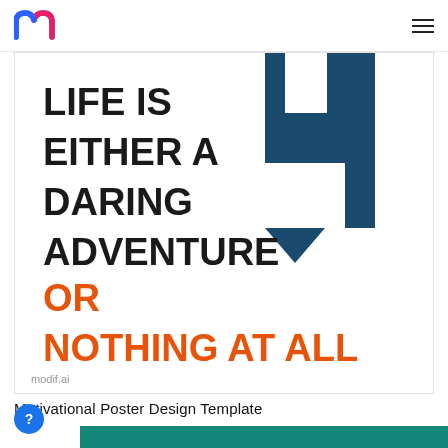modif.ai logo and navigation
[Figure (illustration): Motivational poster preview showing bold text: 'LIFE IS EITHER A DARING ADVENTURE OR NOTHING AT ALL' with dark navy blue decorative bracket shapes on the right side. The first four lines are in black bold uppercase, the last two ('OR', 'NOTHING AT ALL') are in orange bold uppercase. Bottom left watermark reads 'modif.ai'.]
Motivational Poster Design Template